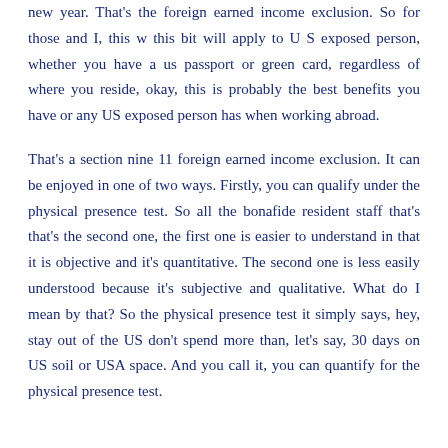new year. That's the foreign earned income exclusion. So for those and I, this w this bit will apply to U S exposed person, whether you have a us passport or green card, regardless of where you reside, okay, this is probably the best benefits you have or any US exposed person has when working abroad.
That's a section nine 11 foreign earned income exclusion. It can be enjoyed in one of two ways. Firstly, you can qualify under the physical presence test. So all the bonafide resident staff that's that's the second one, the first one is easier to understand in that it is objective and it's quantitative. The second one is less easily understood because it's subjective and qualitative. What do I mean by that? So the physical presence test it simply says, hey, stay out of the US don't spend more than, let's say, 30 days on US soil or USA space. And you call it, you can quantify for the physical presence test.